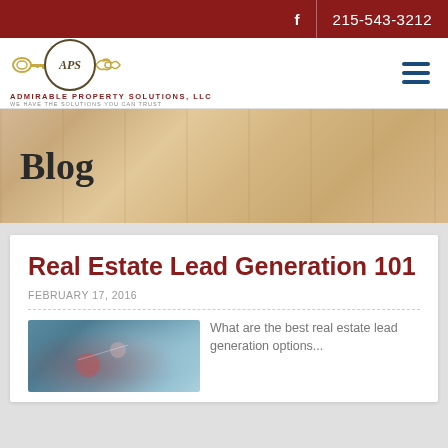f  215-543-3212
[Figure (logo): APS Admirable Property Solutions LLC logo with golden key and circle emblem]
Blog
Real Estate Lead Generation 101
FEBRUARY 17, 2016
[Figure (photo): Real estate lead generation concept photo]
What are the best real estate lead generation options...